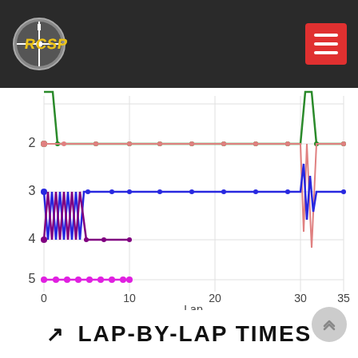[Figure (logo): RCSP logo - circular crosshair with RCSP text on dark header]
[Figure (line-chart): Multi-series line chart showing lap positions over approximately 35 laps for 5 different drivers/series. Green line at ~2, pink line at ~2, blue line oscillates between 3-4 then settles at 3, purple line at ~4, magenta line at ~5.]
LAP-BY-LAP TIMES